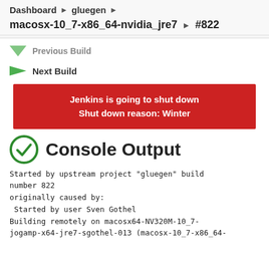Dashboard ▶ gluegen ▶
macosx-10_7-x86_64-nvidia_jre7 ▶ #822
Previous Build
Next Build
Jenkins is going to shut down
Shut down reason: Winter
Console Output
Started by upstream project "gluegen" build number 822
originally caused by:
 Started by user Sven Gothel
Building remotely on macosx64-NV320M-10_7-
jogamp-x64-jre7-sgothel-013 (macosx-10_7-x86_64-